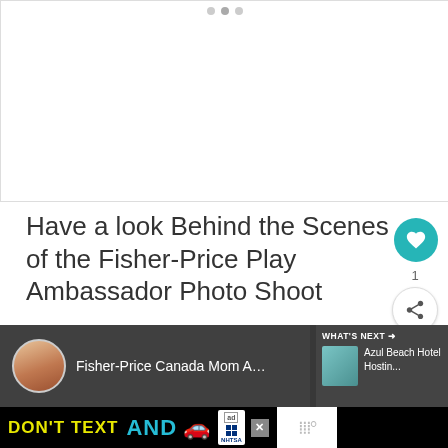[Figure (photo): Blank white image area with slider navigation dots at top]
Have a look Behind the Scenes of the Fisher-Price Play Ambassador Photo Shoot
[Figure (screenshot): Video thumbnail showing Fisher-Price Canada Mom Ambassador with avatar and woman's face, plus What's Next panel showing Azul Beach Hotel Hosting...]
[Figure (photo): Ad banner: DON'T TEXT AND [car emoji] with NHTSA logo, close button, and Tidal logo]